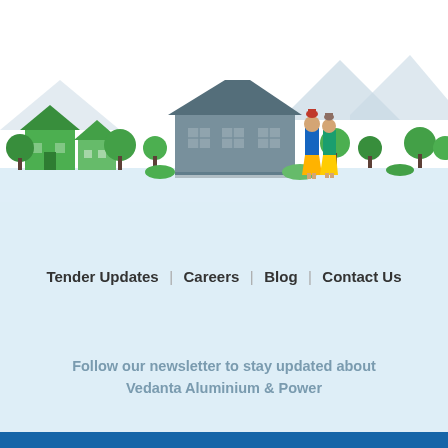[Figure (illustration): A flat illustration showing a village scene with green houses, trees, a larger grey building with windows, two women in traditional Indian attire carrying pots on their heads, and mountains/hills in the background. The lower portion fades into a light blue background.]
Tender Updates | Careers | Blog | Contact Us
Follow our newsletter to stay updated about Vedanta Aluminium & Power